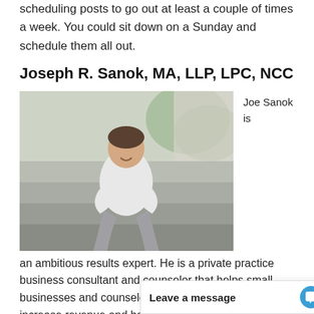scheduling posts to go out at least a couple of times a week. You could sit down on a Sunday and schedule them all out.
Joseph R. Sanok, MA, LLP, LPC, NCC
[Figure (photo): A man sitting on stone stairs outdoors, smiling, wearing a white shirt and grey pants. Text to the right reads 'Joe Sanok is'.]
an ambitious results expert. He is a private practice business consultant and counselor that helps small businesses and counselors in private practice to increase revenue and have more fun! He helps owners with website design, vision, growth, a
Leave a message